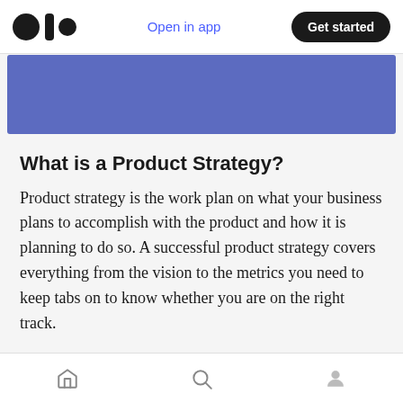Open in app | Get started
[Figure (illustration): Blue banner image at top of article]
What is a Product Strategy?
Product strategy is the work plan on what your business plans to accomplish with the product and how it is planning to do so. A successful product strategy covers everything from the vision to the metrics you need to keep tabs on to know whether you are on the right track.
Product strategy helps people across the teams
Home | Search | Profile